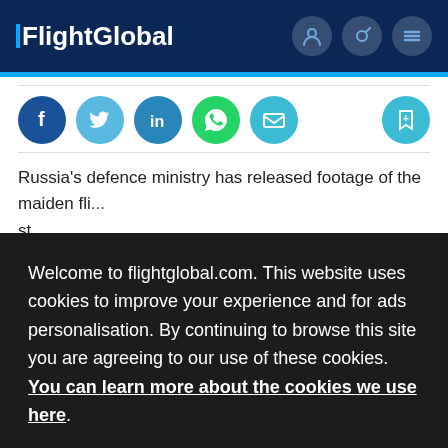FlightGlobal
[Figure (infographic): Social sharing icons row: Facebook (dark blue), Twitter (light blue), LinkedIn (medium blue), WhatsApp (green), Email (cyan), and a bookmark icon (cyan, right side)]
Russia's defence ministry has released footage of the maiden fli... st...
Welcome to flightglobal.com. This website uses cookies to improve your experience and for ads personalisation. By continuing to browse this site you are agreeing to our use of these cookies. You can learn more about the cookies we use here.
OK
Th... e, an...
and cameras mounted on the wingtips, in the V-shaped tail,